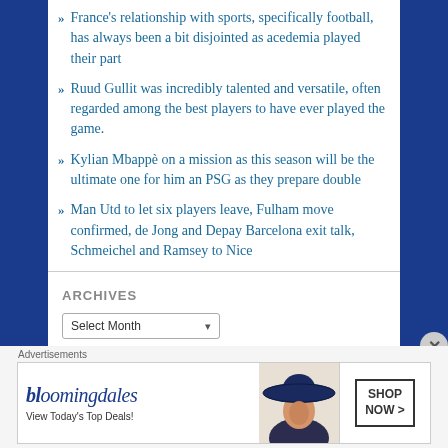France's relationship with sports, specifically football, has always been a bit disjointed as acedemia played their part
Ruud Gullit was incredibly talented and versatile, often regarded among the best players to have ever played the game.
Kylian Mbappè on a mission as this season will be the ultimate one for him an PSG as they prepare double
Man Utd to let six players leave, Fulham move confirmed, de Jong and Depay Barcelona exit talk, Schmeichel and Ramsey to Nice
ARCHIVES
Select Month
Advertisements
[Figure (infographic): Bloomingdale's advertisement banner with logo, 'View Today's Top Deals!' tagline, woman in hat, and 'SHOP NOW >' button]